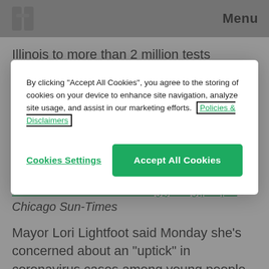Menu
By clicking "Accept All Cookies", you agree to the storing of cookies on your device to enhance site navigation, analyze site usage, and assist in our marketing efforts. Policies & Disclaimers
Cookies Settings
Accept All Cookies
Illinois to more than 2 million tests conducted since the pandemic began. Illinois became the first state in the Midwest to reach that milestone and the fifth state in the U.S., following California, New York, Florida, and Texas.
Lightfoot to do what’s needed to stop ‘uptick’ in coronavirus cases among young people – Chicago Sun-Times
Mayor Lori Lightfoot said Monday she’s concerned about an “uptick” in coronavirus cases among young people and